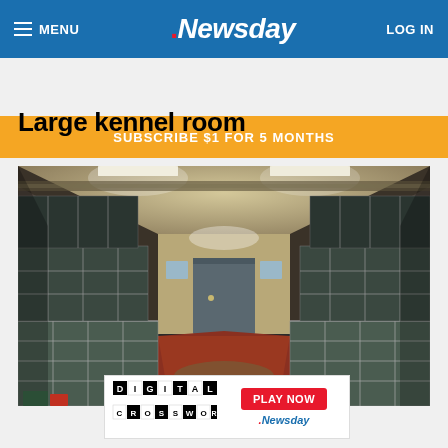MENU | Newsday | LOG IN
SUBSCRIBE $1 FOR 5 MONTHS
Large kennel room
[Figure (photo): Interior of a large kennel room showing rows of metal animal cages on both sides, red/deteriorated floor, a door at the far end, and industrial ceiling with fluorescent lighting.]
[Figure (infographic): Advertisement banner: Digital Crossword with checkerboard logo and Play Now button with Newsday branding]